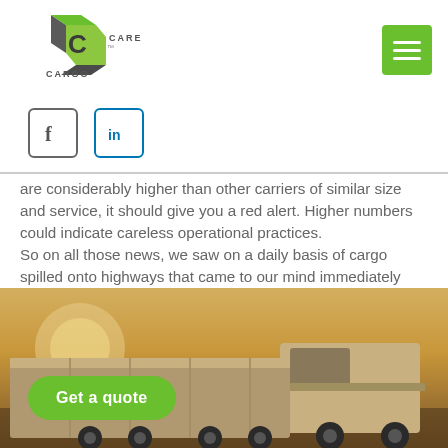Cargo Care logo and navigation menu
[Figure (logo): Cargo Care logo with green cube icon and text]
[Figure (other): Hamburger menu button (green)]
[Figure (other): Facebook and LinkedIn social media icon buttons]
are considerably higher than other carriers of similar size and service, it should give you a red alert. Higher numbers could indicate careless operational practices. So on all those news, we saw on a daily basis of cargo spilled onto highways that came to our mind immediately when we talked about collisions and related topics while you may think this threat is out of your control, it isn't totally.
[Figure (photo): Truck on highway at sunset with golden sky background]
Get a quote